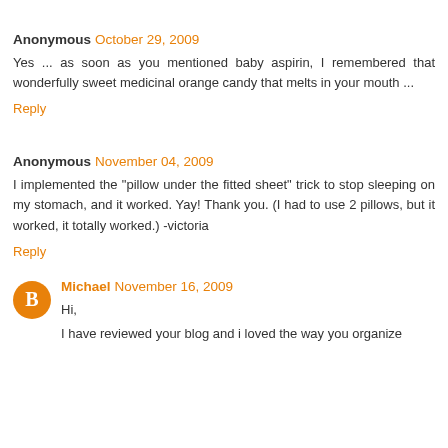Anonymous October 29, 2009
Yes ... as soon as you mentioned baby aspirin, I remembered that wonderfully sweet medicinal orange candy that melts in your mouth ...
Reply
Anonymous November 04, 2009
I implemented the "pillow under the fitted sheet" trick to stop sleeping on my stomach, and it worked. Yay! Thank you. (I had to use 2 pillows, but it worked, it totally worked.) -victoria
Reply
Michael November 16, 2009
Hi,
I have reviewed your blog and i loved the way you organize